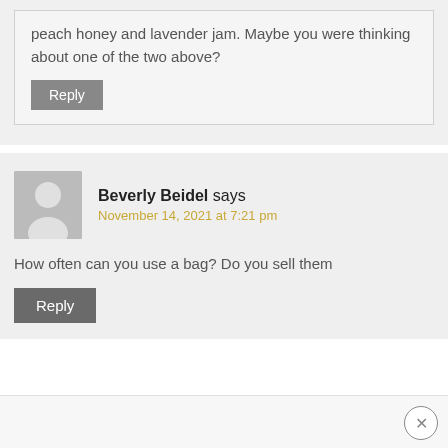peach honey and lavender jam. Maybe you were thinking about one of the two above?
Reply
Beverly Beidel says
November 14, 2021 at 7:21 pm
How often can you use a bag? Do you sell them
Reply